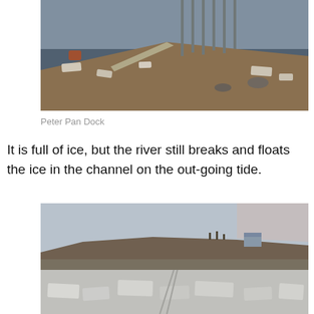[Figure (photo): Aerial/ground level view of Peter Pan Dock area with icy shoreline, dark water with ice chunks, sandy/muddy bank with debris, and dock pilings visible in background under warm light]
Peter Pan Dock
It is full of ice, but the river still breaks and floats the ice in the channel on the out-going tide.
[Figure (photo): Winter landscape showing a frozen river or bay covered in broken ice chunks, with a bluff or shoreline in the background under a pale blue-grey sky, taken at dusk or dawn]